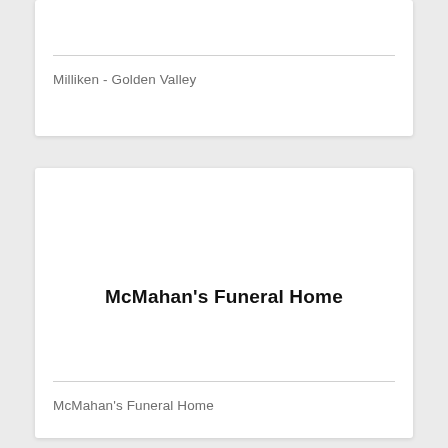Milliken - Golden Valley
McMahan's Funeral Home
McMahan's Funeral Home